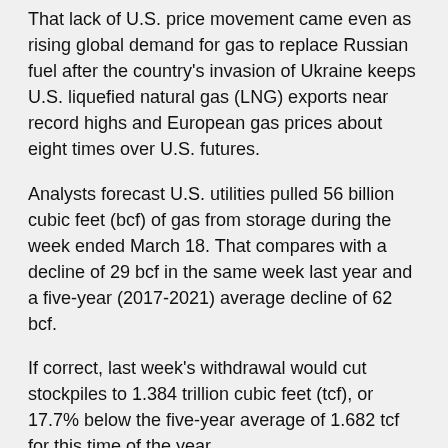That lack of U.S. price movement came even as rising global demand for gas to replace Russian fuel after the country's invasion of Ukraine keeps U.S. liquefied natural gas (LNG) exports near record highs and European gas prices about eight times over U.S. futures.
Analysts forecast U.S. utilities pulled 56 billion cubic feet (bcf) of gas from storage during the week ended March 18. That compares with a decline of 29 bcf in the same week last year and a five-year (2017-2021) average decline of 62 bcf.
If correct, last week's withdrawal would cut stockpiles to 1.384 trillion cubic feet (tcf), or 17.7% below the five-year average of 1.682 tcf for this time of the year.
Even though it will be cooler next week, meteorologists forecast U.S. weather will remain near normal through early April, which should keep heating demand low enough to